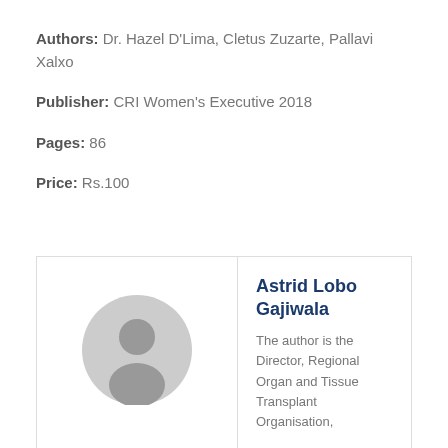Authors: Dr. Hazel D'Lima, Cletus Zuzarte, Pallavi Xalxo
Publisher: CRI Women's Executive 2018
Pages: 86
Price: Rs.100
[Figure (illustration): Circular grey avatar/profile placeholder icon showing a generic person silhouette]
Astrid Lobo Gajiwala
The author is the Director, Regional Organ and Tissue Transplant Organisation,